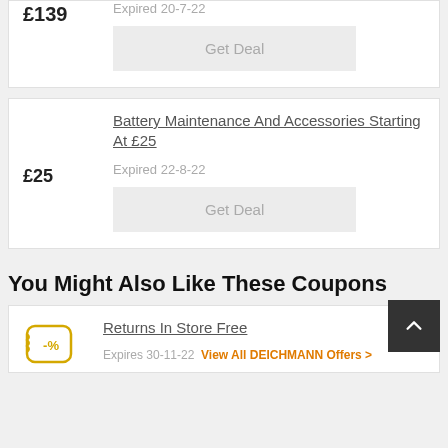£139
Expired 20-7-22
Get Deal
Battery Maintenance And Accessories Starting At £25
£25
Expired 22-8-22
Get Deal
You Might Also Like These Coupons
Returns In Store Free
Expires 30-11-22 View All DEICHMANN Offers >